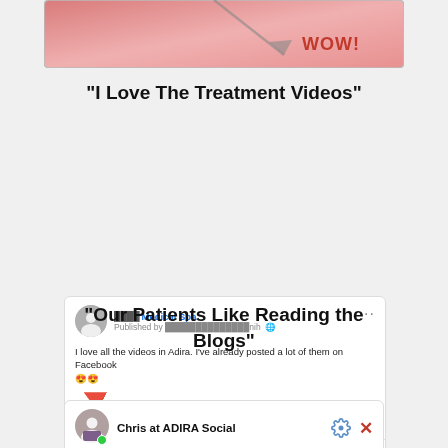[Figure (screenshot): Top cropped image showing a pinkish gradient graphic with a diagonal arrow and 'WOW!' text in red]
“I Love The Treatment Videos”
[Figure (screenshot): Facebook post screenshot from a Medical Spa page. Post text: 'I love all the videos in Adira. I’ve already posted a lot of them on Facebook 😍😍'. Red arrow pointing at post. Boost Post button visible. Like, Comment, Share actions at bottom.]
“Our Patients Like Reading the Blogs”
[Figure (screenshot): Bottom of a chat widget showing 'Chris at ADIRA Social' with avatar, gear icon and X icon]